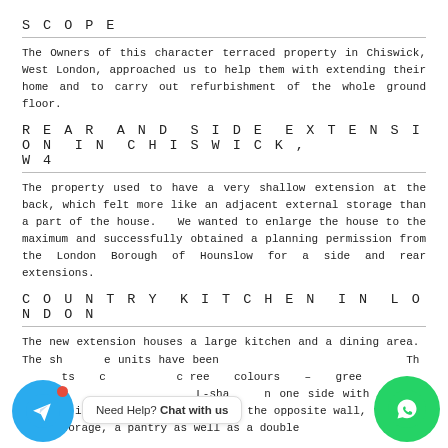SCOPE
The Owners of this character terraced property in Chiswick, West London, approached us to help them with extending their home and to carry out refurbishment of the whole ground floor.
REAR AND SIDE EXTENSION IN CHISWICK, W4
The property used to have a very shallow extension at the back, which felt more like an adjacent external storage than a part of the house.  We wanted to enlarge the house to the maximum and successfully obtained a planning permission from the London Borough of Hounslow for a side and rear extensions.
COUNTRY KITCHEN IN LONDON
The new extension houses a large kitchen and a dining area.  The shaker units have been   The cabinets colours – three colours – gree       in an L-shape on one side with a large kitchen island in the middle.  On the opposite wall, there is tall storage, a pantry as well as a double